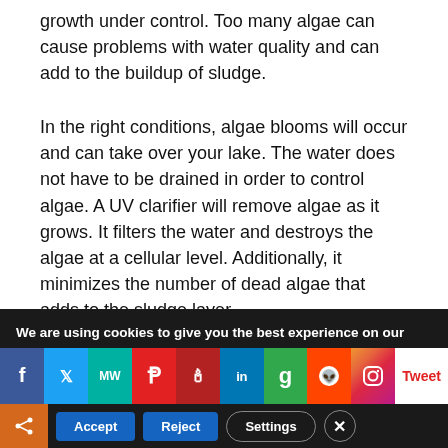growth under control. Too many algae can cause problems with water quality and can add to the buildup of sludge.
In the right conditions, algae blooms will occur and can take over your lake. The water does not have to be drained in order to control algae. A UV clarifier will remove algae as it grows. It filters the water and destroys the algae at a cellular level. Additionally, it minimizes the number of dead algae that adds to the sludge layer.
(partial/faded text cut off)
We are using cookies to give you the best experience on our website.
You can find out more about which cookies we are using or
[Figure (screenshot): Social media sharing icons bar: Facebook, Twitter, MeWe, Parler, Minds, LinkedIn, Goodreads, Reddit, Instagram, Tweet label]
Accept   Reject   Settings   X